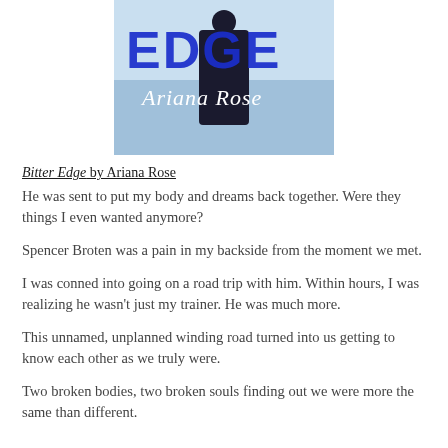[Figure (illustration): Book cover for 'Bitter Edge' by Ariana Rose. Shows text 'EDGE' in large blue letters and 'Ariana Rose' in white cursive script over a wintry background with a figure in dark clothing.]
Bitter Edge by Ariana Rose
He was sent to put my body and dreams back together. Were they things I even wanted anymore?
Spencer Broten was a pain in my backside from the moment we met.
I was conned into going on a road trip with him. Within hours, I was realizing he wasn't just my trainer. He was much more.
This unnamed, unplanned winding road turned into us getting to know each other as we truly were.
Two broken bodies, two broken souls finding out we were more the same than different.